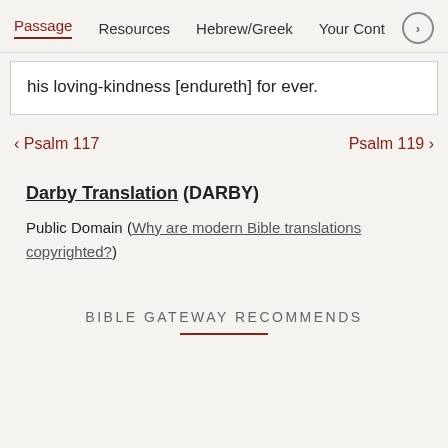Passage  Resources  Hebrew/Greek  Your Cont >
his loving-kindness [endureth] for ever.
< Psalm 117    Psalm 119 >
Darby Translation (DARBY)
Public Domain (Why are modern Bible translations copyrighted?)
BIBLE GATEWAY RECOMMENDS